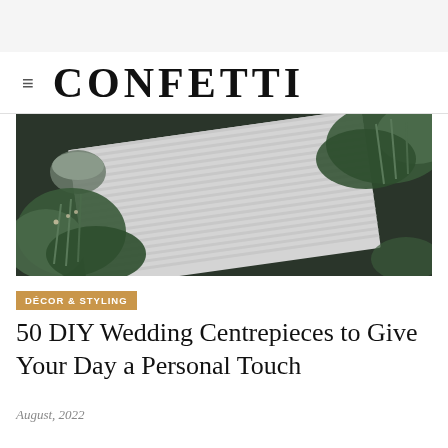CONFETTI
[Figure (photo): Overhead flat-lay photo of green herbs and foliage arranged around a striped light-gray placemat or notebook on a dark surface]
DÉCOR & STYLING
50 DIY Wedding Centrepieces to Give Your Day a Personal Touch
August, 2022